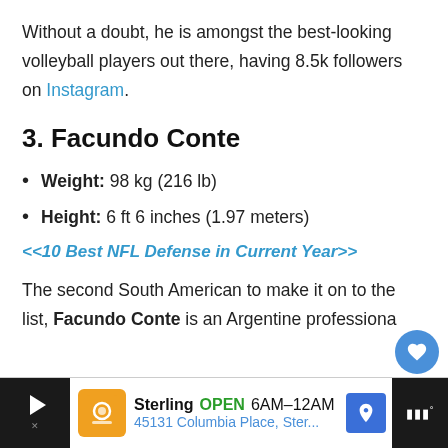Without a doubt, he is amongst the best-looking volleyball players out there, having 8.5k followers on Instagram.
3. Facundo Conte
Weight: 98 kg (216 lb)
Height: 6 ft 6 inches (1.97 meters)
<<10 Best NFL Defense in Current Year>>
The second South American to make it on to the list, Facundo Conte is an Argentine professiona…